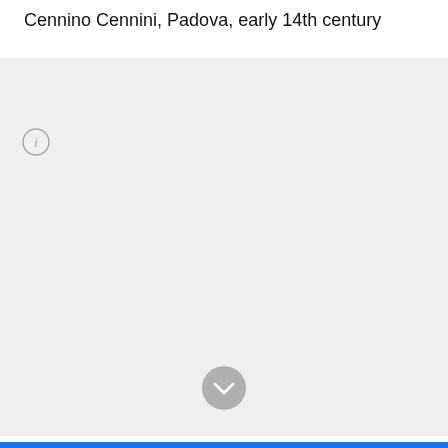Cennino Cennini, Padova, early 14th century
[Figure (other): Gray panel with an info icon (circle with 'i') in the top-left corner and a gray chevron-down button at the bottom center]
Blue bar at bottom of page